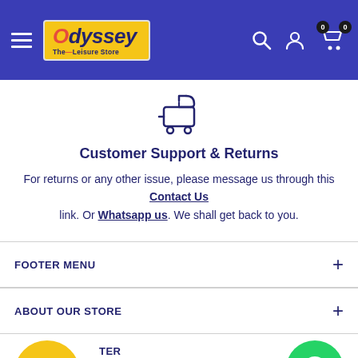Odyssey — The Leisure Store — navigation header with hamburger menu, logo, search, account, and cart icons
[Figure (illustration): Shopping cart with return arrow icon, navy blue outline style]
Customer Support & Returns
For returns or any other issue, please message us through this Contact Us link. Or Whatsapp us. We shall get back to you.
FOOTER MENU
ABOUT OUR STORE
NEWSLETTER
Sign up here for updates on new arrivals, offers, etc. You can